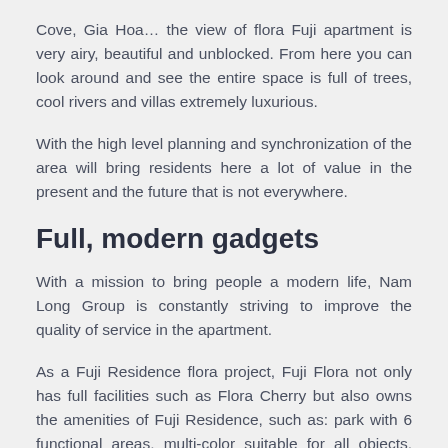Cove, Gia Hoa… the view of flora Fuji apartment is very airy, beautiful and unblocked. From here you can look around and see the entire space is full of trees, cool rivers and villas extremely luxurious.
With the high level planning and synchronization of the area will bring residents here a lot of value in the present and the future that is not everywhere.
Full, modern gadgets
With a mission to bring people a modern life, Nam Long Group is constantly striving to improve the quality of service in the apartment.
As a Fuji Residence flora project, Fuji Flora not only has full facilities such as Flora Cherry but also owns the amenities of Fuji Residence, such as: park with 6 functional areas, multi-color suitable for all objects, kindergarten, business district, swimming pool… Especially with 24-hour video phone tracking system,